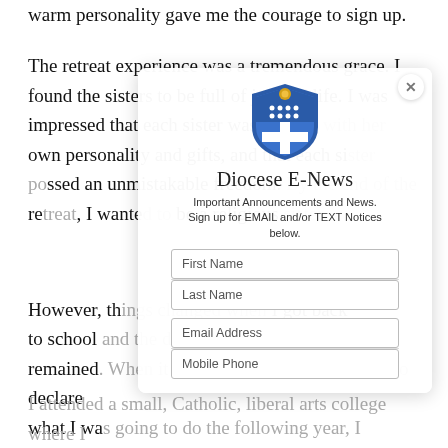warm personality gave me the courage to sign up.
The retreat experience was a tremendous grace. I found the sisters to be full of joy and life. I was impressed that each sister was herself, with her own personality and gifts, and that each sister possessed an unmistakable freedom. By the end of the retreat, I wanted to be a religious sister.
[Figure (infographic): Diocese E-News popup modal overlay with shield logo, title 'Diocese E-News', subtitle 'Important Announcements and News. Sign up for EMAIL and/or TEXT Notices below.', and form fields: First Name, Last Name, Email Address, Mobile Phone]
However, things changed when I got back to school and the dream to be a wife and mother remained. When it came time in my senior year to declare what I was going to do the following year, I decided to go to college and put the discernment question on the back burner.
I attended a small, Catholic, liberal arts college where I